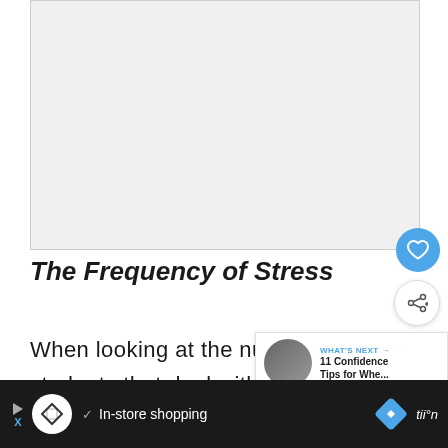[Figure (photo): Large blank/white image placeholder area at the top of the page]
The Frequency of Stress
When looking at the number of students that deal with stress, the
[Figure (screenshot): What's Next promotional widget showing '11 Confidence Tips for Whe...' with a thumbnail of a person]
[Figure (screenshot): Bottom ad bar with In-store shopping advertisement, showing a logo, checkmark, shopping text, and navigation arrow]